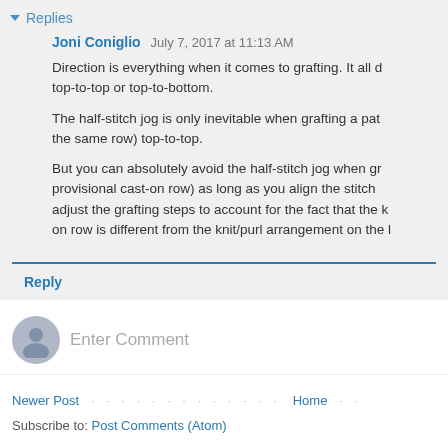Replies
Joni Coniglio  July 7, 2017 at 11:13 AM
Direction is everything when it comes to grafting. It all depends on whether you're grafting top-to-top or top-to-bottom.
The half-stitch jog is only inevitable when grafting a pattern (where knit and purl stitches are on the same row) top-to-top.
But you can absolutely avoid the half-stitch jog when grafting a cast-on row (specifically, a provisional cast-on row) as long as you align the stitches correctly AND adjust the grafting steps to account for the fact that the knit/purl arrangement on the cast-on row is different from the knit/purl arrangement on the live stitches.
Reply
Enter Comment
Newer Post
Home
Subscribe to: Post Comments (Atom)